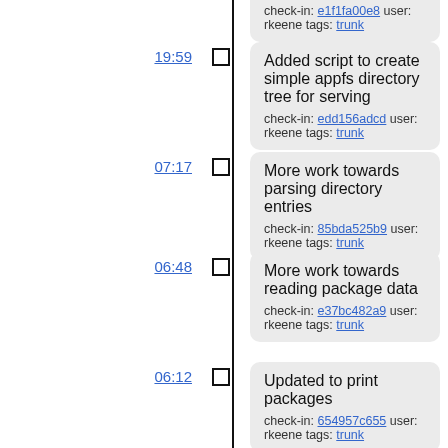check-in: e1f1fa00e8 user: rkeene tags: trunk
19:59 — Added script to create simple appfs directory tree for serving
check-in: edd156adcd user: rkeene tags: trunk
07:17 — More work towards parsing directory entries
check-in: 85bda525b9 user: rkeene tags: trunk
06:48 — More work towards reading package data
check-in: e37bc482a9 user: rkeene tags: trunk
06:12 — Updated to print packages
check-in: 654957c655 user: rkeene tags: trunk
04:34 — More work towards SQLite3 integration
check-in: 76ac4557f6 user: rkeene tags: trunk
04:25 — Working on creating an SQLite interface
check-in: 676f99c72e user: rkeene tags: trunk
03:18 — More rework